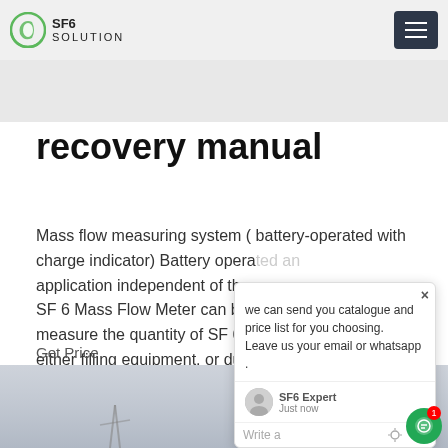SF6 SOLUTION
recovery manual
Mass flow measuring system ( battery-operated with charge indicator) Battery operated an application independent of the power SF 6 Mass Flow Meter can be used measure the quantity of SF 6 (in lbs s either filling equipment, or during a Because the measurement is based ne of
Get Price
[Figure (photo): Photograph of electrical transmission pylons/structures in foggy/overcast conditions]